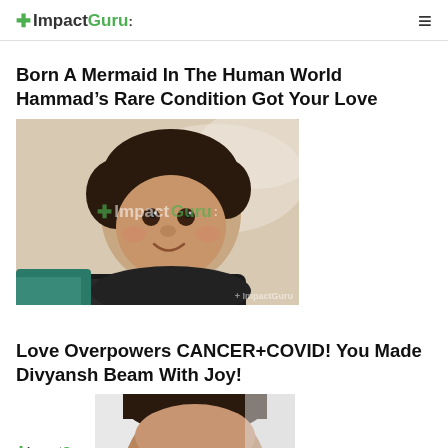ImpactGuru
Born A Mermaid In The Human World Hammad's Rare Condition Got Your Love
[Figure (photo): Photo of a smiling baby boy lying on a white pillow, with ImpactGuru watermark overlay]
Love Overpowers CANCER+COVID! You Made Divyansh Beam With Joy!
[Figure (photo): Partial photo of a child's head with ImpactGuru watermark and logo overlay at bottom]